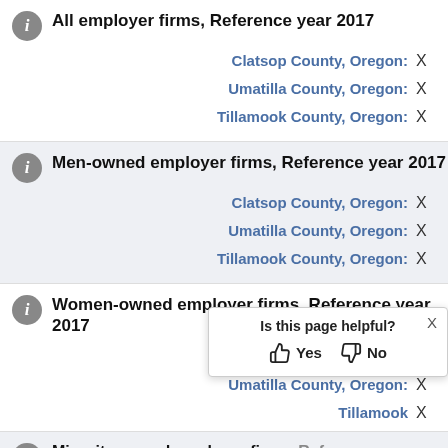All employer firms, Reference year 2017
Clatsop County, Oregon: X
Umatilla County, Oregon: X
Tillamook County, Oregon: X
Men-owned employer firms, Reference year 2017
Clatsop County, Oregon: X
Umatilla County, Oregon: X
Tillamook County, Oregon: X
Women-owned employer firms, Reference year 2017
Clatsop County, Oregon: X
Umatilla County, Oregon: X
Tillamook County, Oregon: X
Minority-owned employer firms, Reference year 2017